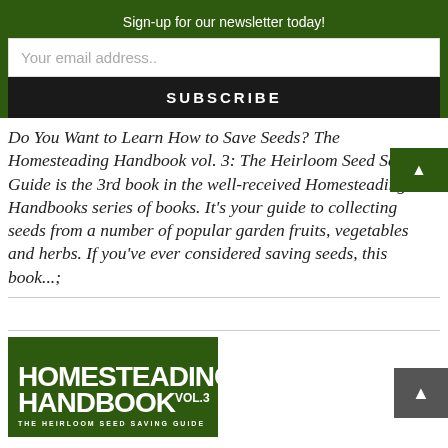Sign-up for our newsletter today!
Your email address..
SUBSCRIBE
Do You Want to Learn How to Save Seeds? The Homesteading Handbook vol. 3: The Heirloom Seed Saving Guide is the 3rd book in the well-received Homesteading Handbooks series of books. It's your guide to collecting seeds from a number of popular garden fruits, vegetables and herbs. If you've ever considered saving seeds, this book...;
[Figure (illustration): Book cover for Homesteading Handbook Vol. 3: The Heirloom Seed Saving Guide, dark green background with large bold white text]